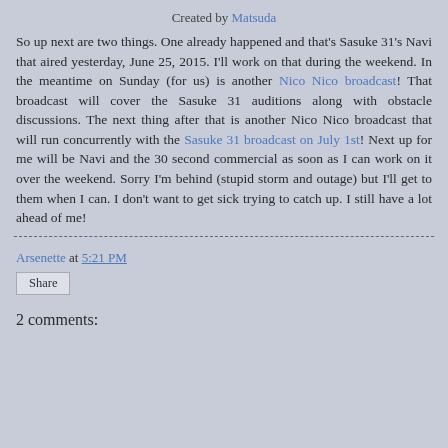Created by Matsuda
So up next are two things.  One already happened and that's Sasuke 31's Navi that aired yesterday, June 25, 2015.  I'll work on that during the weekend.  In the meantime on Sunday (for us) is another Nico Nico broadcast!  That broadcast will cover the Sasuke 31 auditions along with obstacle discussions.  The next thing after that is another Nico Nico broadcast that will run concurrently with the Sasuke 31 broadcast on July 1st!  Next up for me will be Navi and the 30 second commercial as soon as I can work on it over the weekend.  Sorry I'm behind (stupid storm and outage) but I'll get to them when I can. I don't want to get sick trying to catch up.  I still have a lot ahead of me!
Arsenette at 5:21 PM
Share
2 comments: